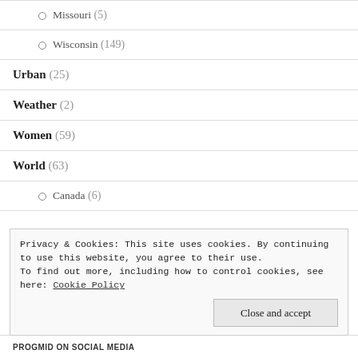Missouri (5)
Wisconsin (149)
Urban (25)
Weather (2)
Women (59)
World (63)
Canada (6)
Privacy & Cookies: This site uses cookies. By continuing to use this website, you agree to their use.
To find out more, including how to control cookies, see here: Cookie Policy
Close and accept
PROGMID ON SOCIAL MEDIA